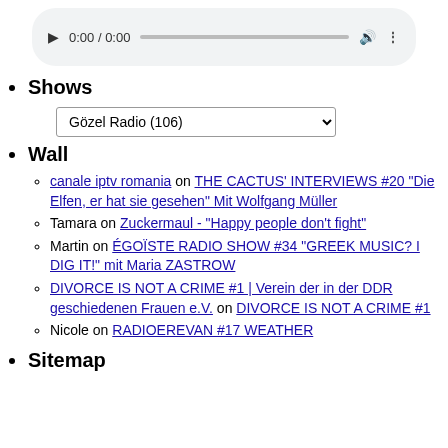[Figure (other): Audio player UI showing play button, time 0:00 / 0:00, progress bar, volume icon, and menu dots]
Shows
[Figure (other): Dropdown selector showing 'Gözel Radio  (106)']
Wall
canale iptv romania on THE CACTUS' INTERVIEWS #20 "Die Elfen, er hat sie gesehen" Mit Wolfgang Müller
Tamara on Zuckermaul - "Happy people don't fight"
Martin on ÉGOÏSTE RADIO SHOW #34 "GREEK MUSIC? I DIG IT!" mit Maria ZASTROW
DIVORCE IS NOT A CRIME #1 | Verein der in der DDR geschiedenen Frauen e.V. on DIVORCE IS NOT A CRIME #1
Nicole on RADIOEREVAN #17 WEATHER
Sitemap